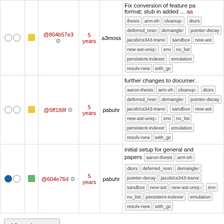|  |  |  | Rev |  | Age | Author | Log Message |
| --- | --- | --- | --- | --- | --- | --- | --- |
| ○ ○ | ■ | @804b57e3 | ⚙ | 5 years | a3moss | Fix conversion of feature pa format; stub in added ... | thesis arm-eh cleanup-dtors deferred_resn demangle pointer-decay jacob/cs343-trans sandbox new-ast new-ast-uni env no_list persistent-indexe emulation resolv-new with_gc |
| ○ ○ | ■ | @5ff188f | ⚙ | 5 years | pabuhr | further changes to documen | aaron-thesis arm-eh cleanup-dtors deferred_resn demangle pointer-decay jacob/cs343-trans sandbox new-ast new-ast-uni env no_list persistent-indexe emulation resolv-new with_gc |
| ● ○ | ■ | @604e76d | ⚙ | 5 years | pabuhr | initial setup for general and papers | aaron-thesis arm-eh dtors deferred_resn demangle pointer-decay jacob/cs343-trans sandbox new-ast new-ast-uni env no_list persistent-indexe emulation resolv-new with_gc |
View changes
Note: See TracRevisionLog for help on using the revision log.
Download in other formats: RSS Feed | ChangeLog
Powered by Trac 1.2.1 By Edgewall Software. | Visit the Trac open source project at http://trac.edgewall.org/